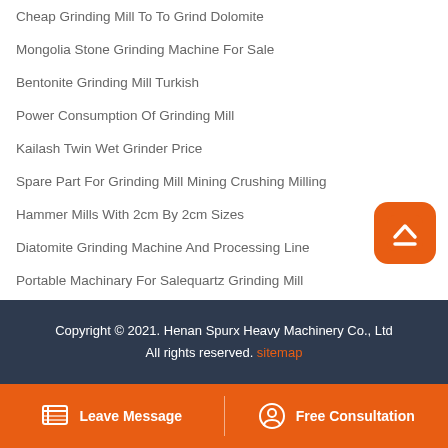Cheap Grinding Mill To To Grind Dolomite
Mongolia Stone Grinding Machine For Sale
Bentonite Grinding Mill Turkish
Power Consumption Of Grinding Mill
Kailash Twin Wet Grinder Price
Spare Part For Grinding Mill Mining Crushing Milling
Hammer Mills With 2cm By 2cm Sizes
Diatomite Grinding Machine And Processing Line
Portable Machinary For Salequartz Grinding Mill
Copyright © 2021. Henan Spurx Heavy Machinery Co., Ltd All rights reserved. sitemap
Leave Message  Free Consultation